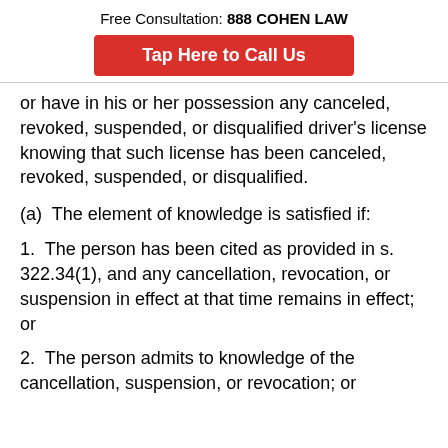Free Consultation: 888 COHEN LAW
[Figure (other): Red call-to-action button reading 'Tap Here to Call Us']
or have in his or her possession any canceled, revoked, suspended, or disqualified driver's license knowing that such license has been canceled, revoked, suspended, or disqualified.
(a)  The element of knowledge is satisfied if:
1.  The person has been cited as provided in s. 322.34(1), and any cancellation, revocation, or suspension in effect at that time remains in effect; or
2.  The person admits to knowledge of the cancellation, suspension, or revocation; or